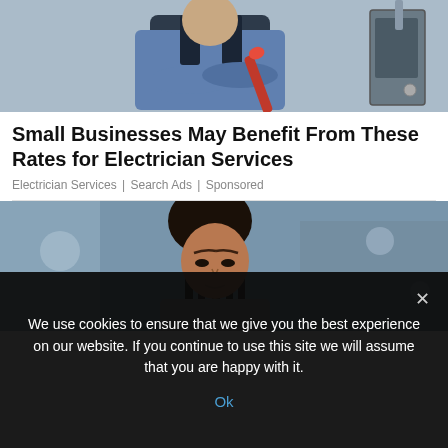[Figure (photo): Electrician/tradesman in blue shirt and dark overalls with crossed arms, holding a red wrench, standing in front of electrical equipment]
Small Businesses May Benefit From These Rates for Electrician Services
Electrician Services | Search Ads | Sponsored
[Figure (photo): Young woman with braided hair looking down, in a blurred indoor/gym-like setting with blue tones]
We use cookies to ensure that we give you the best experience on our website. If you continue to use this site we will assume that you are happy with it.
Ok